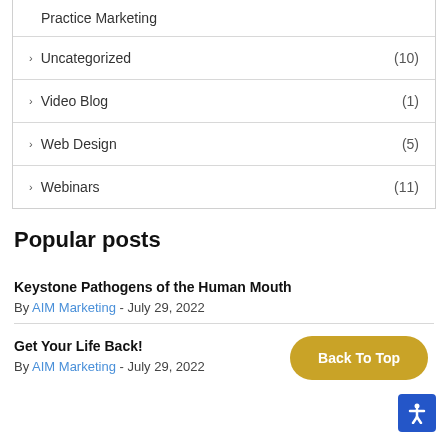Practice Marketing
Uncategorized (10)
Video Blog (1)
Web Design (5)
Webinars (11)
Popular posts
Keystone Pathogens of the Human Mouth
By AIM Marketing - July 29, 2022
Get Your Life Back!
By AIM Marketing - July 29, 2022